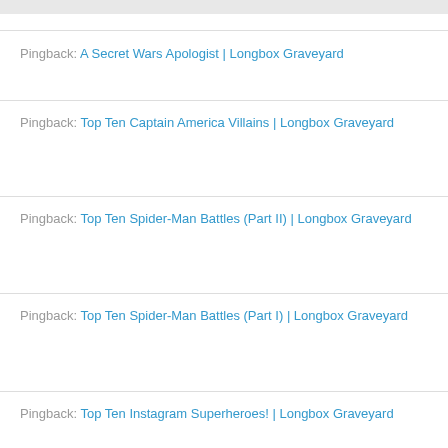Pingback: A Secret Wars Apologist | Longbox Graveyard
Pingback: Top Ten Captain America Villains | Longbox Graveyard
Pingback: Top Ten Spider-Man Battles (Part II) | Longbox Graveyard
Pingback: Top Ten Spider-Man Battles (Part I) | Longbox Graveyard
Pingback: Top Ten Instagram Superheroes! | Longbox Graveyard